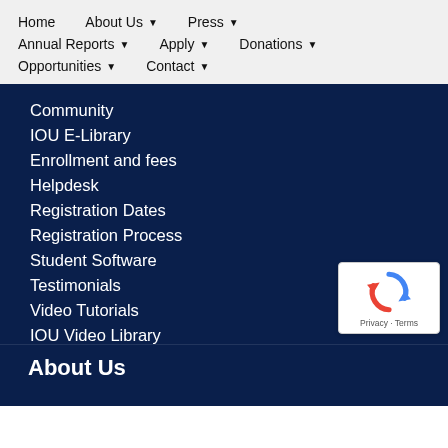Home   About Us ▼   Press ▼   Annual Reports ▼   Apply ▼   Donations ▼   Opportunities ▼   Contact ▼
Community
IOU E-Library
Enrollment and fees
Helpdesk
Registration Dates
Registration Process
Student Software
Testimonials
Video Tutorials
IOU Video Library
[Figure (logo): reCAPTCHA badge with circular arrow logo and Privacy - Terms text]
About Us